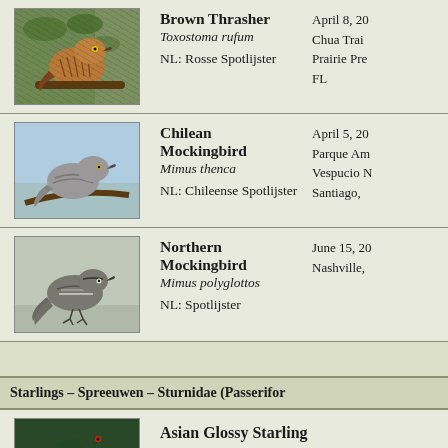[Figure (photo): Photo of Brown Thrasher bird (Toxostoma rufum) perched on branch with foliage]
Brown Thrasher
Toxostoma rufum
NL: Rosse Spotlijster
April 8, 20...
Chua Trai...
Prairie Pre...
FL
[Figure (photo): Photo of Chilean Mockingbird (Mimus thenca) perched on a branch against blue sky]
Chilean Mockingbird
Mimus thenca
NL: Chileense Spotlijster
April 5, 20...
Parque Am...
Vespucio N...
Santiago, ...
[Figure (photo): Photo of Northern Mockingbird (Mimus polyglottos) perched on flat surface]
Northern Mockingbird
Mimus polyglottos
NL: Spotlijster
June 15, 20...
Nashville, ...
Starlings - Spreeuwen - Sturnidae (Passerifor...
Asian Glossy Starling